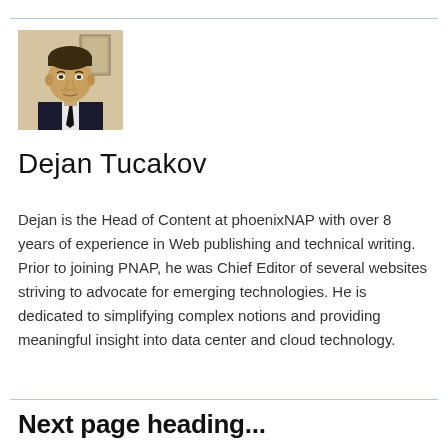[Figure (photo): Headshot photo of Dejan Tucakov, a young man in a dark suit and tie, with short hair and facial stubble, in front of a light background with framed certificates.]
Dejan Tucakov
Dejan is the Head of Content at phoenixNAP with over 8 years of experience in Web publishing and technical writing. Prior to joining PNAP, he was Chief Editor of several websites striving to advocate for emerging technologies. He is dedicated to simplifying complex notions and providing meaningful insight into data center and cloud technology.
Next page heading (partially visible)